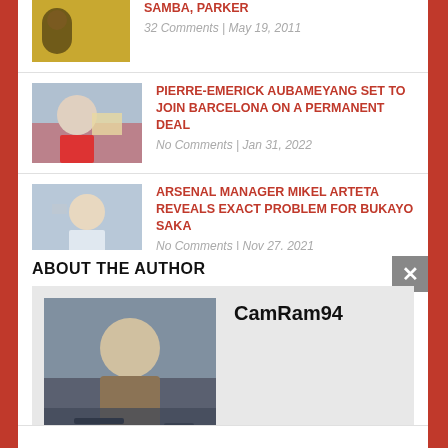SAMBA, PARKER — 32 Comments | May 19, 2011
PIERRE-EMERICK AUBAMEYANG SET TO JOIN BARCELONA ON A PERMANENT DEAL — No Comments | Jan 31, 2022
ARSENAL MANAGER MIKEL ARTETA REVEALS EXACT PROBLEM FOR BUKAYO SAKA — No Comments | Nov 27, 2021
ABOUT THE AUTHOR
CamRam94